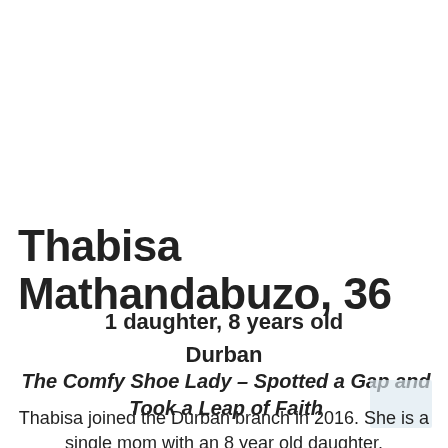Thabisa Mathandabuzo, 36
1 daughter, 8 years old
Durban
The Comfy Shoe Lady – Spotted a Gap and Took a Leap of Faith
Thabisa joined the Durban branch in 2016.  She is a single mom with an 8 year old daughter.